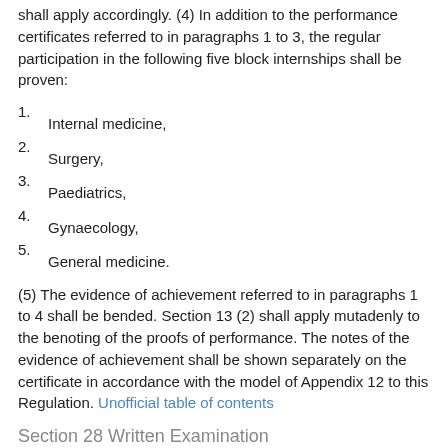shall apply accordingly. (4) In addition to the performance certificates referred to in paragraphs 1 to 3, the regular participation in the following five block internships shall be proven:
1. Internal medicine,
2. Surgery,
3. Paediatrics,
4. Gynaecology,
5. General medicine.
(5) The evidence of achievement referred to in paragraphs 1 to 4 shall be bended. Section 13 (2) shall apply mutadenly to the benoting of the proofs of performance. The notes of the evidence of achievement shall be shown separately on the certificate in accordance with the model of Appendix 12 to this Regulation. Unofficial table of contents
Section 28 Written Examination